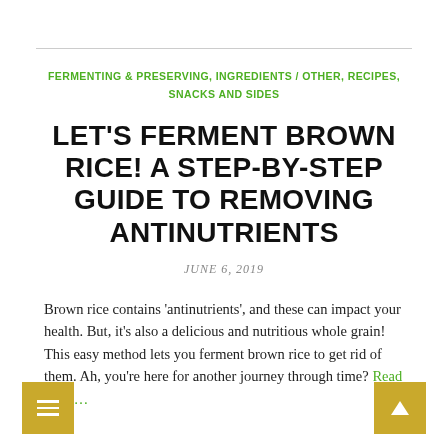FERMENTING & PRESERVING, INGREDIENTS / OTHER, RECIPES, SNACKS AND SIDES
LET'S FERMENT BROWN RICE! A STEP-BY-STEP GUIDE TO REMOVING ANTINUTRIENTS
JUNE 6, 2019
Brown rice contains 'antinutrients', and these can impact your health. But, it's also a delicious and nutritious whole grain! This easy method lets you ferment brown rice to get rid of them. Ah, you're here for another journey through time? Read more…